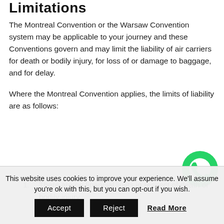Limitations
The Montreal Convention or the Warsaw Convention system may be applicable to your journey and these Conventions govern and may limit the liability of air carriers for death or bodily injury, for loss of or damage to baggage, and for delay.
Where the Montreal Convention applies, the limits of liability are as follows:
There are no financial limits in respect of death or bodily injury.
[Figure (logo): WhatsApp green phone icon button]
This website uses cookies to improve your experience. We'll assume you're ok with this, but you can opt-out if you wish.
Accept  Reject  Read More